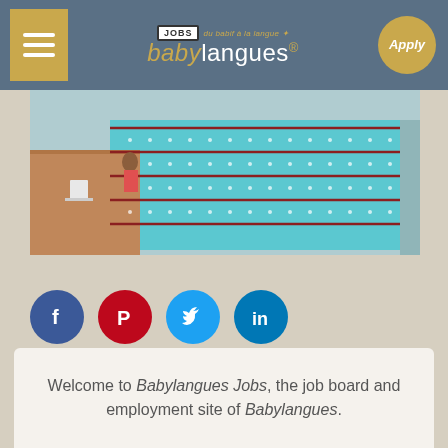[Figure (logo): Babylangues Jobs logo with hamburger menu button on left and Apply button (gold circle) on right, set in a steel blue header bar]
[Figure (photo): Indoor Olympic swimming pool with multiple lanes, blue water, and lane dividers viewed from the side]
[Figure (infographic): Row of four social media icons: Facebook (dark blue), Pinterest (red), Twitter (light blue), LinkedIn (blue)]
Welcome to Babylangues Jobs, the job board and employment site of Babylangues.